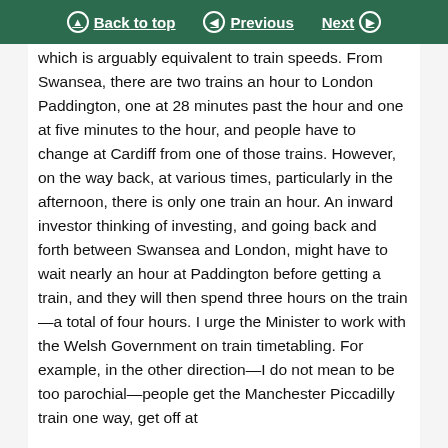Back to top | Previous | Next
which is arguably equivalent to train speeds. From Swansea, there are two trains an hour to London Paddington, one at 28 minutes past the hour and one at five minutes to the hour, and people have to change at Cardiff from one of those trains. However, on the way back, at various times, particularly in the afternoon, there is only one train an hour. An inward investor thinking of investing, and going back and forth between Swansea and London, might have to wait nearly an hour at Paddington before getting a train, and they will then spend three hours on the train—a total of four hours. I urge the Minister to work with the Welsh Government on train timetabling. For example, in the other direction—I do not mean to be too parochial—people get the Manchester Piccadilly train one way, get off at